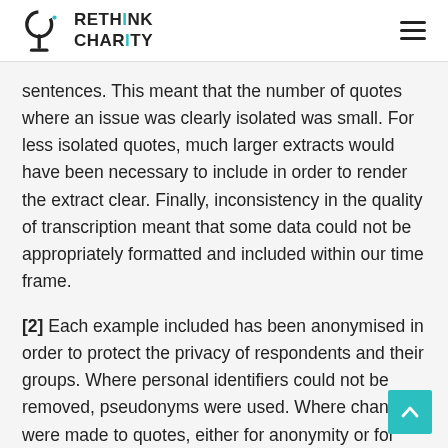RETHINK CHARITY
sentences. This meant that the number of quotes where an issue was clearly isolated was small. For less isolated quotes, much larger extracts would have been necessary to include in order to render the extract clear. Finally, inconsistency in the quality of transcription meant that some data could not be appropriately formatted and included within our time frame.
[2] Each example included has been anonymised in order to protect the privacy of respondents and their groups. Where personal identifiers could not be removed, pseudonyms were used. Where changes were made to quotes, either for anonymity or for clarification, square brackets